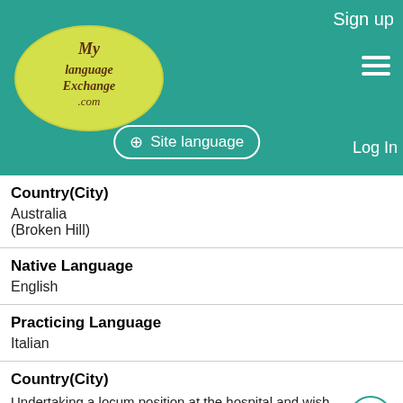[Figure (screenshot): MyLanguageExchange.com website header with teal background, logo, Sign up link, hamburger menu, Site language button, and Log In link]
Country(City)
Australia
(Broken Hill)
Native Language
English
Practicing Language
Italian
Country(City)
Undertaking a locum position at the hospital and wish to interact with native speaking italians - recently completed a beginners italian language course in milan and wish to maintain my level
Name
[Figure (photo): Partial profile photo showing blonde hair]